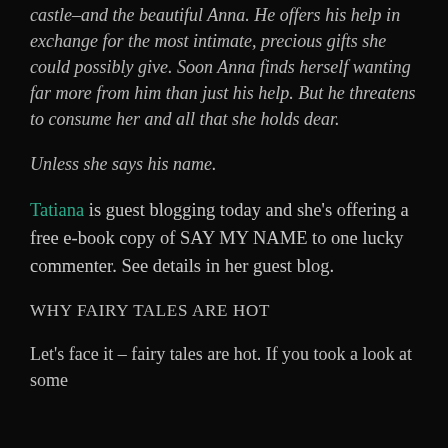castle–and the beautiful Anna. He offers his help in exchange for the most intimate, precious gifts she could possibly give. Soon Anna finds herself wanting far more from him than just his help. But he threatens to consume her and all that she holds dear.
Unless she says his name.
Tatiana is guest blogging today and she's offering a free e-book copy of SAY MY NAME to one lucky commenter. See details in her guest blog.
WHY FAIRY TALES ARE HOT
Let's face it – fairy tales are hot. If you took a look at some